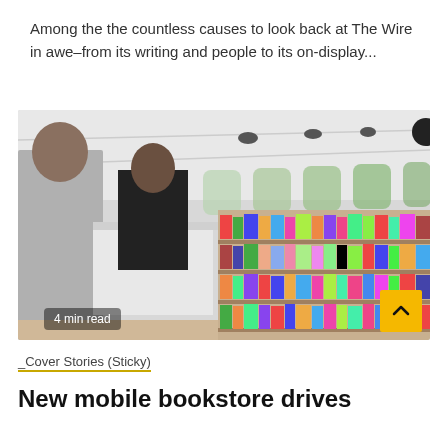Among the the countless causes to look back at The Wire in awe–from its writing and people to its on-display...
[Figure (photo): Interior of a mobile bookstore bus with shelves full of colorful children's books; a person in a black shirt browses behind a counter, and another person in a gray shirt stands in the foreground on the left.]
4 min read
_Cover Stories (Sticky)
New mobile bookstore drives